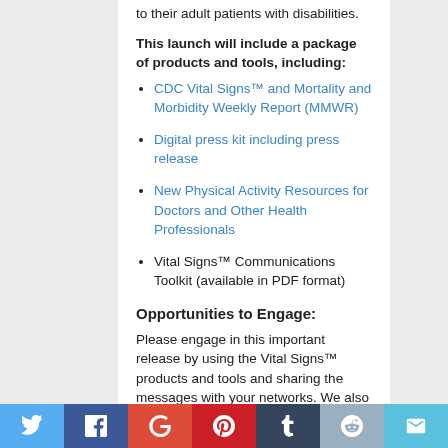to their adult patients with disabilities.
This launch will include a package of products and tools, including:
CDC Vital Signs™ and Mortality and Morbidity Weekly Report (MMWR)
Digital press kit including press release
New Physical Activity Resources for Doctors and Other Health Professionals
Vital Signs™ Communications Toolkit (available in PDF format)
Opportunities to Engage:
Please engage in this important release by using the Vital Signs™ products and tools and sharing the messages with your networks.  We also encourage you to join us